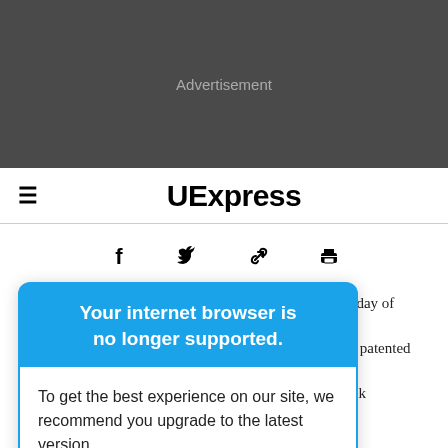[Figure (screenshot): Dark grey advertisement banner placeholder with text 'Advertisement' in light grey.]
≡  UExpress
[Figure (screenshot): Social sharing icons: Facebook (f), Twitter (bird), link, and print icons arranged horizontally.]
Your internet browser is no longer supported.
To get the best experience on our site, we recommend you upgrade to the latest version.
77th day of
tman patented
Kodak
trademark.